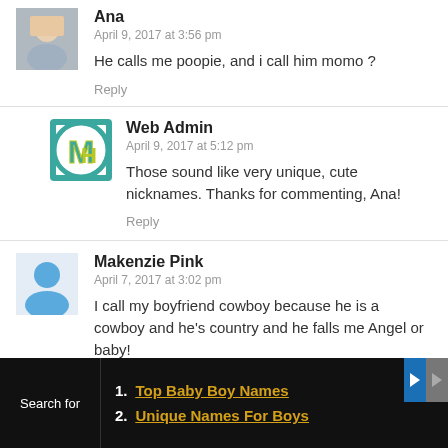Ana
April 9, 2017 at 3:56 pm
He calls me poopie, and i call him momo ?
Reply
Web Admin
April 9, 2017 at 5:12 pm
Those sound like very unique, cute nicknames. Thanks for commenting, Ana!
Reply
Makenzie Pink
April 7, 2017 at 3:02 pm
I call my boyfriend cowboy because he is a cowboy and he's country and he falls me Angel or baby!
Reply
Search for
1. Top Baby Boy Names
2. Unique Names For Boys